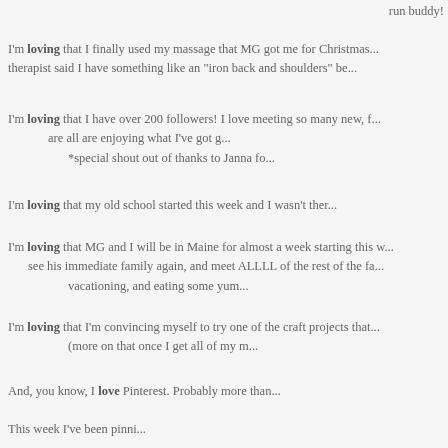run buddy!
I'm loving that I finally used my massage that MG got me for Christmas... therapist said I have something like an "iron back and shoulders" be...
I'm loving that I have over 200 followers! I love meeting so many new, f... are all are enjoying what I've got g... *special shout out of thanks to Janna fo...
I'm loving that my old school started this week and I wasn't ther...
I'm loving that MG and I will be in Maine for almost a week starting this w... see his immediate family again, and meet ALLLL of the rest of the fa... vacationing, and eating some yum...
I'm loving that I'm convincing myself to try one of the craft projects that... (more on that once I get all of my m...
And, you know, I love Pinterest. Probably more than...
This week I've been pinni...